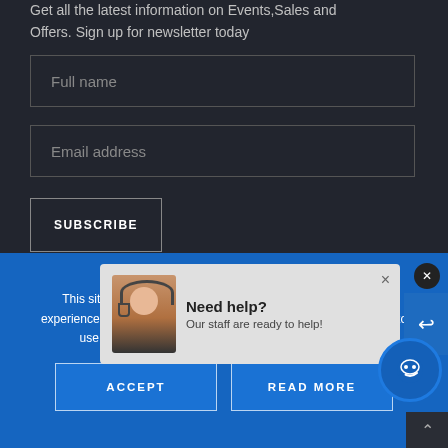Get all the latest information on Events, Sales and Offers. Sign up for newsletter today
Full name
Email address
SUBSCRIBE
GerMedUSA © 2022. All Rights Reserved
[Figure (screenshot): Chat popup with avatar of customer service agent wearing headset. Text reads 'Need help? Our staff are ready to help!' with an X close button.]
This site uses cookies to help personalize content, tailor your experience and to keep you logged in if you register. By continuing to use this site, you are consenting to our use of cookies.
ACCEPT
READ MORE